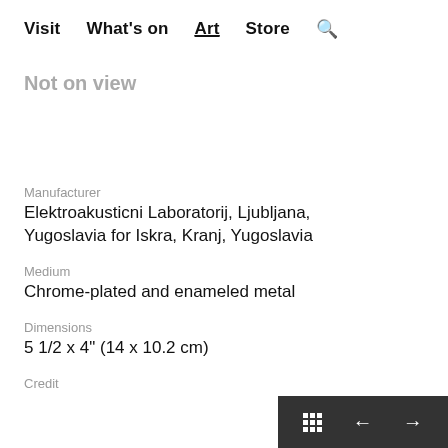Visit  What's on  Art  Store  🔍
Not on view
Manufacturer
Elektroakusticni Laboratorij, Ljubljana, Yugoslavia for Iskra, Kranj, Yugoslavia
Medium
Chrome-plated and enameled metal
Dimensions
5 1/2 x 4" (14 x 10.2 cm)
Credit